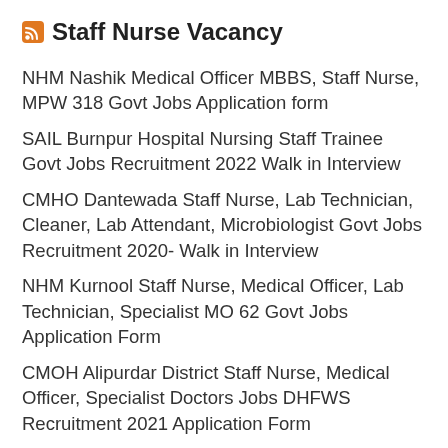Staff Nurse Vacancy
NHM Nashik Medical Officer MBBS, Staff Nurse, MPW 318 Govt Jobs Application form
SAIL Burnpur Hospital Nursing Staff Trainee Govt Jobs Recruitment 2022 Walk in Interview
CMHO Dantewada Staff Nurse, Lab Technician, Cleaner, Lab Attendant, Microbiologist Govt Jobs Recruitment 2020- Walk in Interview
NHM Kurnool Staff Nurse, Medical Officer, Lab Technician, Specialist MO 62 Govt Jobs Application Form
CMOH Alipurdar District Staff Nurse, Medical Officer, Specialist Doctors Jobs DHFWS Recruitment 2021 Application Form
SAIL Bokaro General Hospital Staff Nurse Govt Jobs Walk